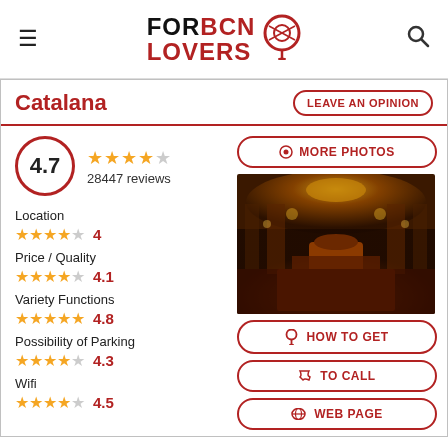FORBCN LOVERS
Catalana
LEAVE AN OPINION
4.7 – 28447 reviews
MORE PHOTOS
Location – 4 stars – 4
Price / Quality – 4.1 stars – 4.1
[Figure (photo): Interior of a grand concert hall with ornate golden ceiling, stained glass, and rows of seats]
Variety Functions – 5 stars – 4.8
Possibility of Parking – 4 stars – 4.3
Wifi – 4.5 stars – 4.5
HOW TO GET
TO CALL
WEB PAGE